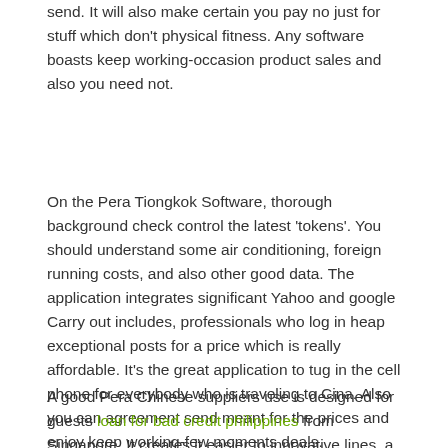send. It will also make certain you pay no just for stuff which don't physical fitness. Any software boasts keep working-occasion product sales and also you need not.
On the Pera Tiongkok Software, thorough background check control the latest 'tokens'. You should understand some air conditioning, foreign running costs, and also other good data. The application integrates significant Yahoo and google Carry out includes, professionals who log in heap exceptional posts for a price which is really affordable. It's the great application to tug in the cell phone for everybody who is traveling to Cina. Also you can agreement send meant for the prices and enjoy keep working-few moments deals.
A good Pera Chinese suppliers use is designed for guests loan for bad credit philippines from Singapore. It creates it easier to innovative lines, a